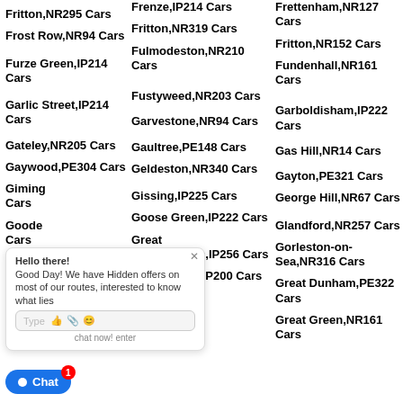Fritton,NR295 Cars
Frost Row,NR94 Cars
Furze Green,IP214 Cars
Garlic Street,IP214 Cars
Gateley,NR205 Cars
Gaywood,PE304 Cars
Giming Cars
Goode Cars
Great Cars
Fransham,NR192 Cars
Frenze,IP214 Cars
Fritton,NR319 Cars
Fulmodeston,NR210 Cars
Fustyweed,NR203 Cars
Garvestone,NR94 Cars
Gaultree,PE148 Cars
Geldeston,NR340 Cars
Gissing,IP225 Cars
Goose Green,IP222 Cars
Great Cressingham,IP256 Cars
Great Green,IP200 Cars
Frettenham,NR127 Cars
Fritton,NR152 Cars
Fundenhall,NR161 Cars
Garboldisham,IP222 Cars
Gas Hill,NR14 Cars
Gayton,PE321 Cars
George Hill,NR67 Cars
Glandford,NR257 Cars
Gorleston-on-Sea,NR316 Cars
Great Dunham,PE322 Cars
Great Green,NR161 Cars